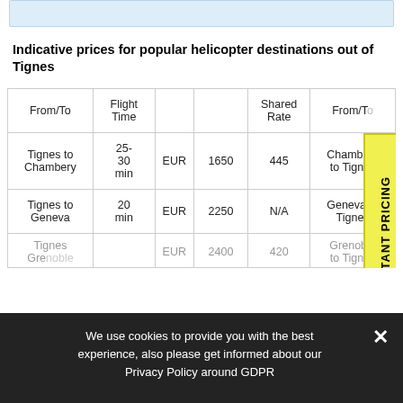Indicative prices for popular helicopter destinations out of Tignes
| From/To | Flight Time |  | EUR | Shared Rate | From/To |
| --- | --- | --- | --- | --- | --- |
| Tignes to Chambery | 25-30 min | EUR | 1650 | 445 | Chambery to Tignes |
| Tignes to Geneva | 20 min | EUR | 2250 | N/A | Geneva to Tignes |
| Tignes to Grenoble | ... | EUR | 2400 | 420 | Grenoble to Tignes |
We use cookies to provide you with the best experience, also please get informed about our Privacy Policy around GDPR